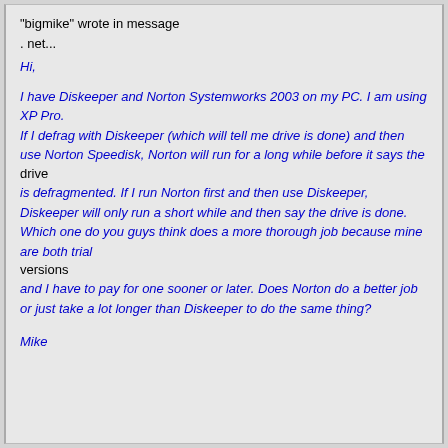"bigmike" wrote in message
. net...
Hi,
I have Diskeeper and Norton Systemworks 2003 on my PC. I am using XP Pro. If I defrag with Diskeeper (which will tell me drive is done) and then use Norton Speedisk, Norton will run for a long while before it says the drive is defragmented. If I run Norton first and then use Diskeeper, Diskeeper will only run a short while and then say the drive is done. Which one do you guys think does a more thorough job because mine are both trial versions and I have to pay for one sooner or later. Does Norton do a better job or just take a lot longer than Diskeeper to do the same thing?
Mike